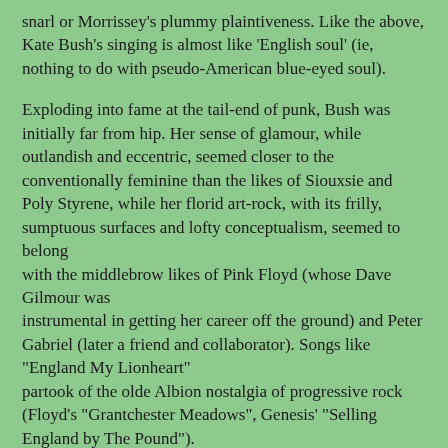snarl or Morrissey's plummy plaintiveness. Like the above, Kate Bush's singing is almost like 'English soul' (ie, nothing to do with pseudo-American blue-eyed soul).
Exploding into fame at the tail-end of punk, Bush was initially far from hip. Her sense of glamour, while outlandish and eccentric, seemed closer to the conventionally feminine than the likes of Siouxsie and Poly Styrene, while her florid art-rock, with its frilly, sumptuous surfaces and lofty conceptualism, seemed to belong with the middlebrow likes of Pink Floyd (whose Dave Gilmour was instrumental in getting her career off the ground) and Peter Gabriel (later a friend and collaborator). Songs like "England My Lionheart" partook of the olde Albion nostalgia of progressive rock (Floyd's "Grantchester Meadows", Genesis' "Selling England by The Pound"). Actually, Bush is half-Irish on her late mother's side, and thinks herself as much Celtic as Anglo-Saxon.
But now sufficient time has elapsed since the punk v. hippy